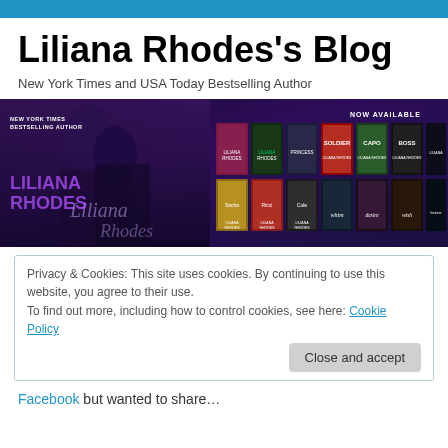Liliana Rhodes's Blog
New York Times and USA Today Bestselling Author
[Figure (illustration): Promotional banner image for Liliana Rhodes author blog showing a romantic couple in dark purple/blue tones on the left with the author name in purple neon-style text, and a grid of book covers on the right labeled NOW AVAILABLE]
Privacy & Cookies: This site uses cookies. By continuing to use this website, you agree to their use.
To find out more, including how to control cookies, see here: Cookie Policy
Close and accept
Facebook but wanted to share…